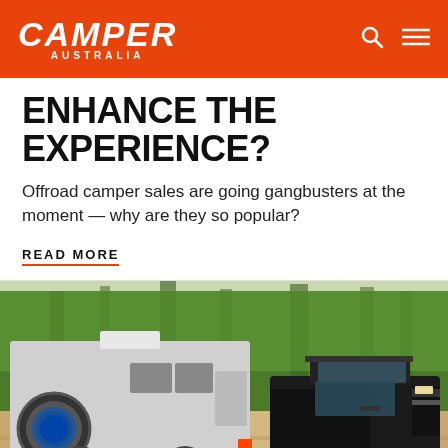CAMPER AUSTRALIA
ENHANCE THE EXPERIENCE?
Offroad camper sales are going gangbusters at the moment — why are they so popular?
READ MORE
[Figure (photo): A grey off-road camper trailer being towed by a black pickup truck on a dirt road surrounded by green forest trees.]